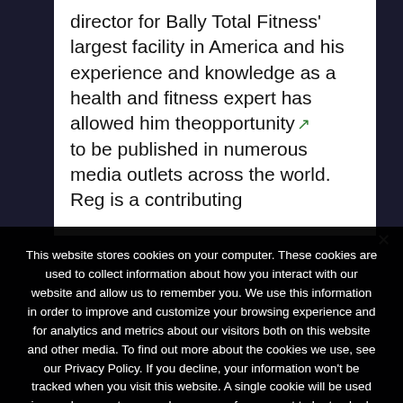director for Bally Total Fitness' largest facility in America and his experience and knowledge as a health and fitness expert has allowed him theopportunity [external link icon] to be published in numerous media outlets across the world. Reg is a contributing
This website stores cookies on your computer. These cookies are used to collect information about how you interact with our website and allow us to remember you. We use this information in order to improve and customize your browsing experience and for analytics and metrics about our visitors both on this website and other media. To find out more about the cookies we use, see our Privacy Policy. If you decline, your information won't be tracked when you visit this website. A single cookie will be used in your browser to remember your preference not to be tracked.
Ok   Privacy policy